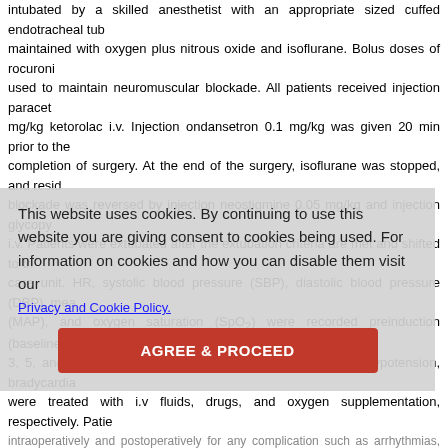intubated by a skilled anesthetist with an appropriate sized cuffed endotracheal tube, maintained with oxygen plus nitrous oxide and isoflurane. Bolus doses of rocuronium were used to maintain neuromuscular blockade. All patients received injection paracetamol and mg/kg ketorolac i.v. Injection ondansetron 0.1 mg/kg was given 20 min prior to the completion of surgery. At the end of the surgery, isoflurane was stopped, and residual blockade was reversed by injection neostigmine 0.05 mg/kg and injection glycopyrrolate i.v. Patients were extubated after the extubation criteria are met and shifted to the care unit. HR, systolic blood pressure (SBP), diastolic blood pressure (DBP), mean arterial pressure (MAP), and oxygen saturation (SpO2) were recorded preinduction (baseline), at intubation, 3, 5, and 10 min after intubation for both the groups. Any hypotension, bradycardia, and SpO2 were treated with i.v fluids, drugs, and oxygen supplementation, respectively. Patients were monitored intraoperatively and postoperatively for any complication such as arrhythmias, bradycardia, vomiting, respiratory depression, sedation, muscular rigidity, and pruritus.
Descriptive statistics were done using mean with standard deviation for quantitative categorical variables were presented in frequencies along with respective standard deviation. Quantitative variables were done using Student's t-test and categorical variables. Chi-square test was used according to the data. All statistical analyses were done using SPSS software (version 22, SPSS Inc., Chicago, IL, USA). All analyses were two-tailed and results were discussed at 5% level of significance, i.e., P < 0.05 was considered statistically significant.
This website uses cookies. By continuing to use this website you are giving consent to cookies being used. For information on cookies and how you can disable them visit our Privacy and Cookie Policy.